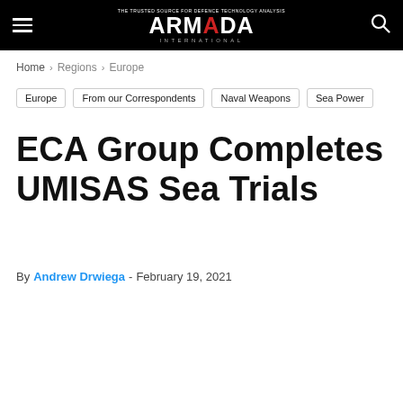ARMADA INTERNATIONAL
Home > Regions > Europe
Europe
From our Correspondents
Naval Weapons
Sea Power
ECA Group Completes UMISAS Sea Trials
By Andrew Drwiega - February 19, 2021